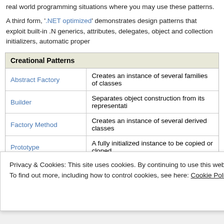real world programming situations where you may use these patterns.
A third form, '.NET optimized' demonstrates design patterns that exploit built-in .NET features, such as generics, attributes, delegates, object and collection initializers, automatic properties
| Creational Patterns |  |
| --- | --- |
| Abstract Factory | Creates an instance of several families of classes |
| Builder | Separates object construction from its representation |
| Factory Method | Creates an instance of several derived classes |
| Prototype | A fully initialized instance to be copied or cloned |
| Singleton | A class of which only a single instance can exist |
| Structural Patterns |  |
| --- | --- |
| Adapter | Match interfaces of different classes |
| Bridge | Separates an object's interface from its implementation |
Privacy & Cookies: This site uses cookies. By continuing to use this website, you agree to their use.
To find out more, including how to control cookies, see here: Cookie Policy
Close and accept